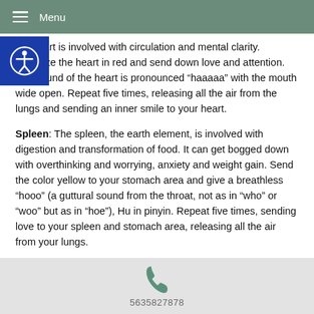Menu
the heart is involved with circulation and mental clarity. Visualize the heart in red and send down love and attention. The sound of the heart is pronounced “haaaaa” with the mouth wide open. Repeat five times, releasing all the air from the lungs and sending an inner smile to your heart.
Spleen: The spleen, the earth element, is involved with digestion and transformation of food. It can get bogged down with overthinking and worrying, anxiety and weight gain. Send the color yellow to your stomach area and give a breathless “hooo” (a guttural sound from the throat, not as in “who” or “woo” but as in “hoe”), Hu in pinyin. Repeat five times, sending love to your spleen and stomach area, releasing all the air from your lungs.
5635827878